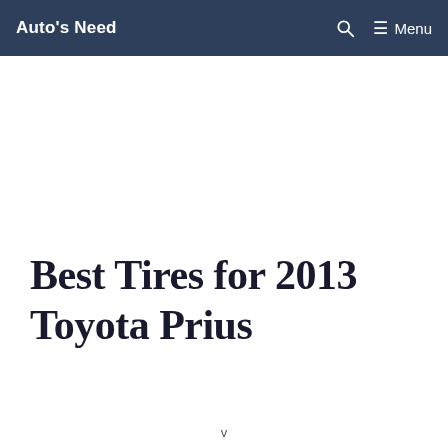Auto's Need | Menu
Best Tires for 2013 Toyota Prius